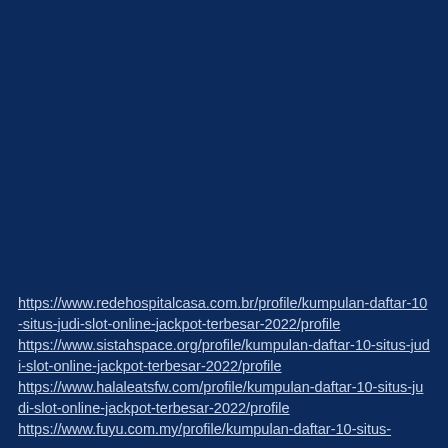https://www.redehospitalcasa.com.br/profile/kumpulan-daftar-10-situs-judi-slot-online-jackpot-terbesar-2022/profile https://www.sistahspace.org/profile/kumpulan-daftar-10-situs-judi-slot-online-jackpot-terbesar-2022/profile https://www.halaleatsfw.com/profile/kumpulan-daftar-10-situs-judi-slot-online-jackpot-terbesar-2022/profile https://www.fuyu.com.my/profile/kumpulan-daftar-10-situs-